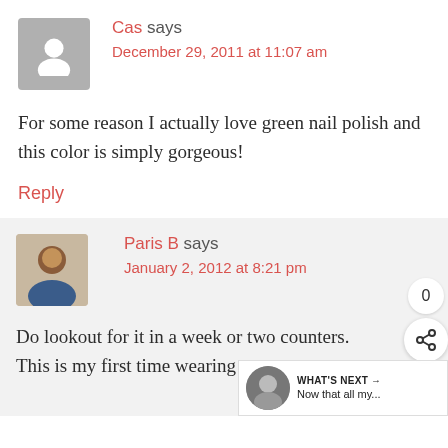Cas says
December 29, 2011 at 11:07 am
For some reason I actually love green nail polish and this color is simply gorgeous!
Reply
Paris B says
January 2, 2012 at 8:21 pm
Do lookout for it in a week or two counters. This is my first time wearing
WHAT'S NEXT → Now that all my...